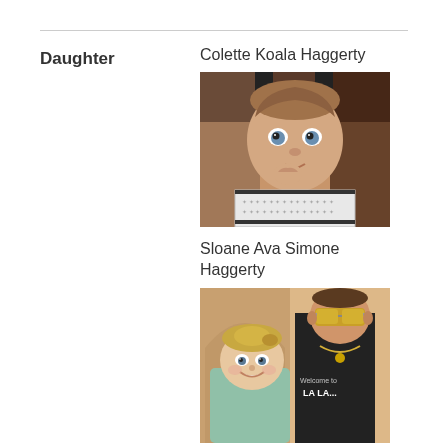Daughter
Colette Koala Haggerty
[Figure (photo): Photo of a baby with blue eyes wearing a patterned onesie, held by someone behind them]
Sloane Ava Simone Haggerty
[Figure (photo): Photo of a young toddler girl with a man wearing sunglasses and a black shirt]